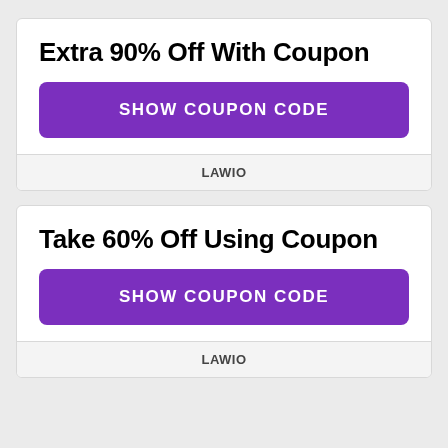Extra 90% Off With Coupon
SHOW COUPON CODE
LAWIO
Take 60% Off Using Coupon
SHOW COUPON CODE
LAWIO